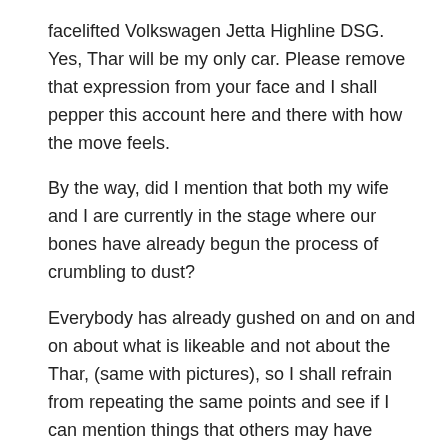facelifted Volkswagen Jetta Highline DSG. Yes, Thar will be my only car. Please remove that expression from your face and I shall pepper this account here and there with how the move feels.
By the way, did I mention that both my wife and I are currently in the stage where our bones have already begun the process of crumbling to dust?
Everybody has already gushed on and on and on about what is likeable and not about the Thar, (same with pictures), so I shall refrain from repeating the same points and see if I can mention things that others may have chosen not to.
Revenge - Sweet, sweet revenge. For all these years that every scooter, auto-rickshaw, and others who brazenly cut into my path or blithely pushed me away by exploiting my fears of getting more scratches or dents in my precious Jetta